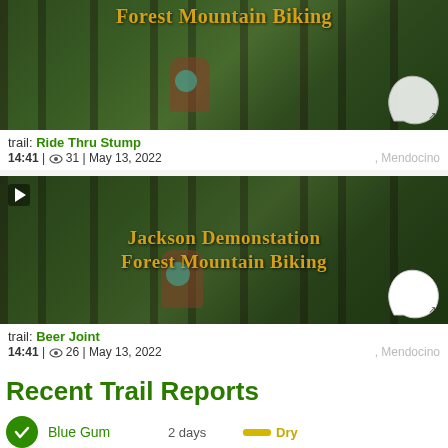[Figure (photo): Mountain biking video thumbnail showing a cyclist riding through a dense forest with tall trees. Yellow stylized text reads 'Forest Mountain Biking' overlaid on the forest scene. A white map shape and navigation arrow appear in the bottom right corner.]
trail: Ride Thru Stump
14:41 | 👁 31 | May 13, 2022                    , Mendocino
[Figure (photo): Mountain biking video thumbnail showing a cyclist riding through Jackson Demonstration State Forest. Yellow stylized text reads 'Jackson Demonstation Forest Mountain Biking'. A play button icon is in the top left. A white map shape appears in the bottom right corner.]
trail: Beer Joint
14:41 | 👁 26 | May 13, 2022                    , Mendocino
Recent Trail Reports
Blue Gum    2 days    Dry